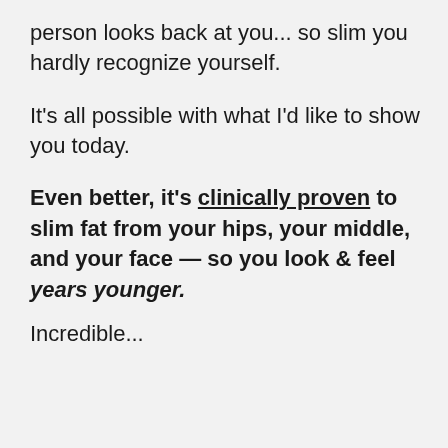person looks back at you... so slim you hardly recognize yourself.
It's all possible with what I'd like to show you today.
Even better, it's clinically proven to slim fat from your hips, your middle, and your face — so you look & feel years younger.
Incredible...